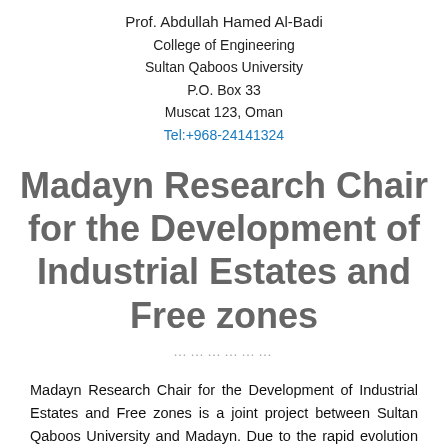Prof. Abdullah Hamed Al-Badi
College of Engineering
Sultan Qaboos University
P.O. Box 33
Muscat 123, Oman
Tel:+968-24141324
Madayn Research Chair for the Development of Industrial Estates and Free zones
..................
Madayn Research Chair for the Development of Industrial Estates and Free zones is a joint project between Sultan Qaboos University and Madayn. Due to the rapid evolution of the business environment that has occurred in the